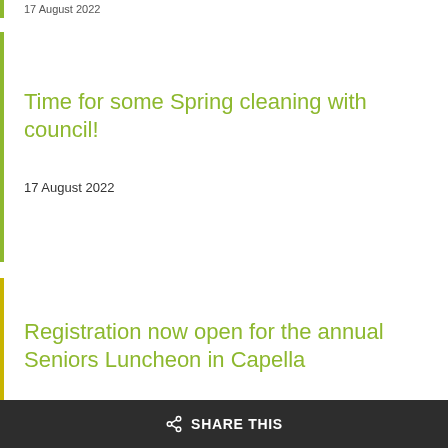17 August 2022
Time for some Spring cleaning with council!
17 August 2022
Registration now open for the annual Seniors Luncheon in Capella
15 August 2022
SHARE THIS